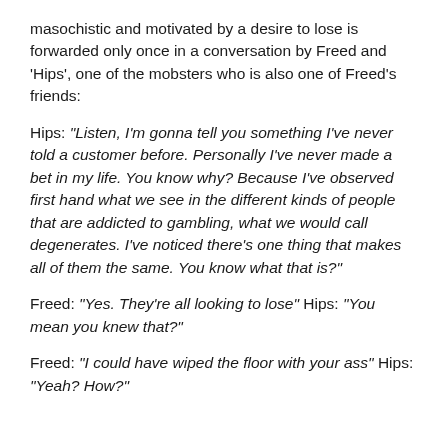masochistic and motivated by a desire to lose is forwarded only once in a conversation by Freed and 'Hips', one of the mobsters who is also one of Freed's friends:
Hips: "Listen, I'm gonna tell you something I've never told a customer before. Personally I've never made a bet in my life. You know why? Because I've observed first hand what we see in the different kinds of people that are addicted to gambling, what we would call degenerates. I've noticed there's one thing that makes all of them the same. You know what that is?"
Freed: "Yes. They're all looking to lose" Hips: "You mean you knew that?"
Freed: "I could have wiped the floor with your ass" Hips: "Yeah? How?"